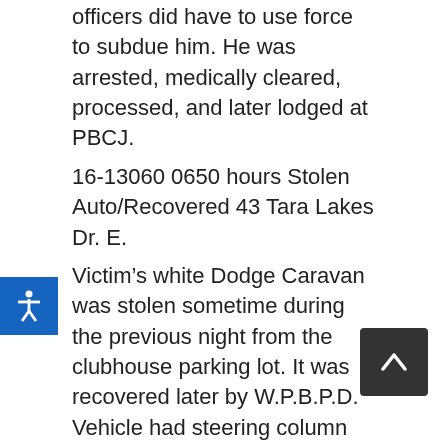officers did have to use force to subdue him. He was arrested, medically cleared, processed, and later lodged at PBCJ.
16-13060 0650 hours Stolen Auto/Recovered 43 Tara Lakes Dr. E.
Victim’s white Dodge Caravan was stolen sometime during the previous night from the clubhouse parking lot. It was recovered later by W.P.B.P.D. Vehicle had steering column damage.
16-13061 0715 hours Stolen Auto/Attempt 2301 S. Congress Ave.
Victim’s gold Dodge Caravan was broken into between 2300 hours last night and 0700 hours this morning in an attempt to steal it, however; were unsuccessful. Vehicle key ignition damaged.
16-13064 0735 hours Stolen Auto/Attempt 2301 S. Congress Ave.
Victim’s white Dodge Caravan was broken into